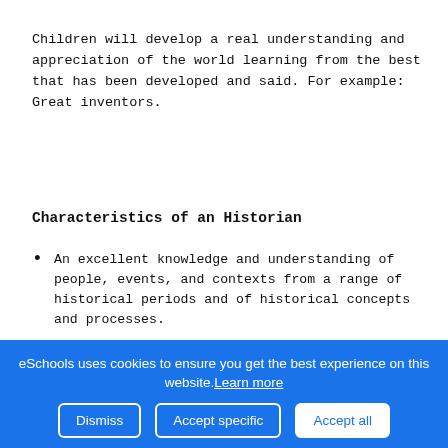Children will develop a real understanding and appreciation of the world learning from the best that has been developed and said. For example: Great inventors.
Characteristics of an Historian
An excellent knowledge and understanding of people, events, and contexts from a range of historical periods and of historical concepts and processes.
The ability to think critically about history and communicate ideas very confidently in styles appropriate to a range of audiences.
The ability to consistently support, evaluate and challenge their own and others' views using detailed, appropriate and
eSchools uses cookies to ensure you get the best experience on this website. Learn more